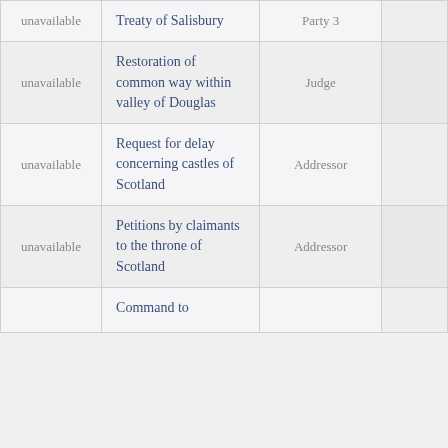| unavailable | Treaty of Salisbury | Party 3 |  |
| unavailable | Restoration of common way within valley of Douglas | Judge |  |
| unavailable | Request for delay concerning castles of Scotland | Addressor |  |
| unavailable | Petitions by claimants to the throne of Scotland | Addressor |  |
|  | Command to |  |  |